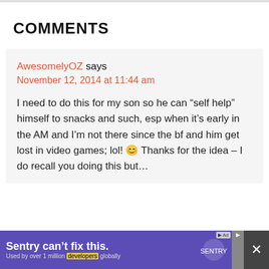COMMENTS
AwesomelyOZ says
November 12, 2014 at 11:44 am
I need to do this for my son so he can “self help” himself to snacks and such, esp when it’s early in the AM and I’m not there since the bf and him get lost in video games; lol! 😊 Thanks for the idea – I do recall you doing this but...
[Figure (screenshot): Sentry advertisement banner at bottom: 'Sentry can't fix this. Used by over 1 million developers globally' with Sentry logo and close button.]